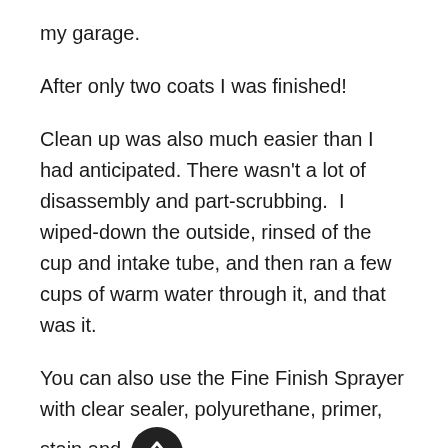my garage.
After only two coats I was finished!
Clean up was also much easier than I had anticipated. There wasn't a lot of disassembly and part-scrubbing.  I wiped-down the outside, rinsed of the cup and intake tube, and then ran a few cups of warm water through it, and that was it.
You can also use the Fine Finish Sprayer with clear sealer, polyurethane, primer, stain and varnish.